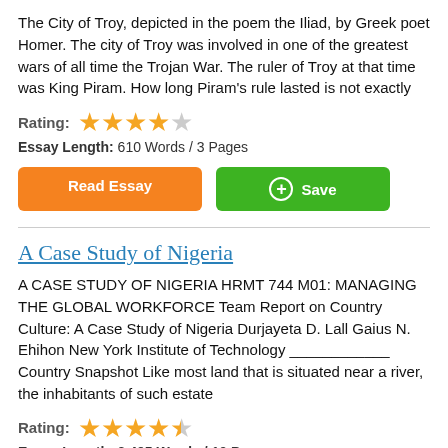The City of Troy, depicted in the poem the Iliad, by Greek poet Homer. The city of Troy was involved in one of the greatest wars of all time the Trojan War. The ruler of Troy at that time was King Piram. How long Piram's rule lasted is not exactly
Rating: ★★★★☆
Essay Length: 610 Words / 3 Pages
Read Essay | Save
A Case Study of Nigeria
A CASE STUDY OF NIGERIA HRMT 744 M01: MANAGING THE GLOBAL WORKFORCE Team Report on Country Culture: A Case Study of Nigeria Durjayeta D. Lall Gaius N. Ehihon New York Institute of Technology ____________ Country Snapshot Like most land that is situated near a river, the inhabitants of such estate
Rating: ★★★★½
Essay Length: 2,495 Words / 10 Pages